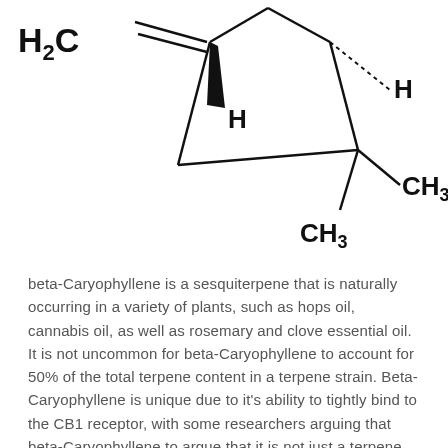[Figure (schematic): Skeletal structural formula of beta-Caryophyllene (a bicyclic sesquiterpene), showing a bicyclo[2.2.1]heptane (norbornane-like) ring system with an exocyclic methylene group (H2C=), an H label on a wedge bond, a dotted H bond, and two methyl groups (CH3) on a gem-dimethyl quaternary carbon.]
beta-Caryophyllene is a sesquiterpene that is naturally occurring in a variety of plants, such as hops oil, cannabis oil, as well as rosemary and clove essential oil. It is not uncommon for beta-Caryophyllene to account for 50% of the total terpene content in a terpene strain. Beta-Caryophyllene is unique due to it's ability to tightly bind to the CB1 receptor, with some researchers arguing that beta-Caryophyllene to argue that it is not just a terpene but a